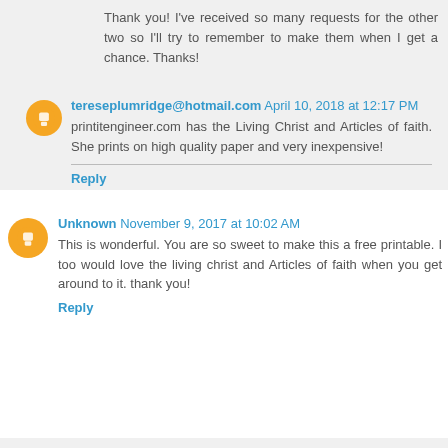Thank you! I've received so many requests for the other two so I'll try to remember to make them when I get a chance. Thanks!
tereseplumridge@hotmail.com April 10, 2018 at 12:17 PM
printitengineer.com has the Living Christ and Articles of faith. She prints on high quality paper and very inexpensive!
Reply
Unknown November 9, 2017 at 10:02 AM
This is wonderful. You are so sweet to make this a free printable. I too would love the living christ and Articles of faith when you get around to it. thank you!
Reply